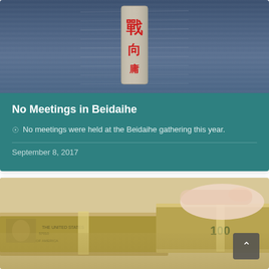[Figure (photo): Photo of a stone marker with Chinese characters in red, partially submerged or standing in blue-grey ocean water]
No Meetings in Beidaihe
No meetings were held at the Beidaihe gathering this year.
September 8, 2017
[Figure (photo): Photo of a hand holding a stack of US $100 dollar bills]